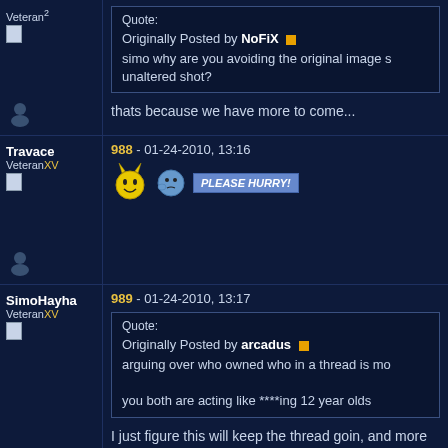Veteran²
Quote: Originally Posted by NoFiX — simo why are you avoiding the original image s... unaltered shot?
thats because we have more to come...
Travace VeteranXV
988 - 01-24-2010, 13:16
[Figure (other): Yellow smiley star and blue emoticon with PLEASE HURRY! button]
SimoHayha VeteranXV
989 - 01-24-2010, 13:17
Quote: Originally Posted by arcadus — arguing over who owned who in a thread is mo... you both are acting like ****ing 12 year olds
I just figure this will keep the thread goin, and more...